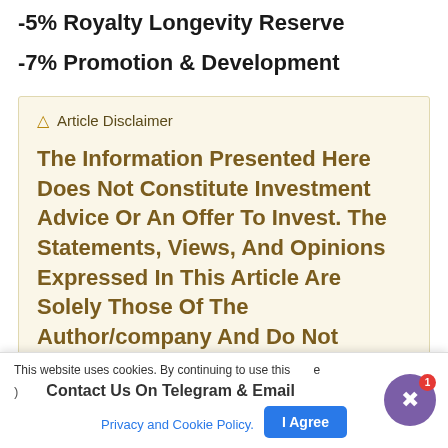-5% Royalty Longevity Reserve
-7% Promotion & Development
Article Disclaimer
The Information Presented Here Does Not Constitute Investment Advice Or An Offer To Invest. The Statements, Views, And Opinions Expressed In This Article Are Solely Those Of The Author/company And Do Not Represent Those Of Coinworldstory. We Strongly Advise Our Readers To Do Your Own Research (DYOR) Before Investing In Any Cryptocurrency, Blockchain Project, Sales, Particularly Those...
This website uses cookies. By continuing to use this website, you agree to our Privacy and Cookie Policy.
Contact Us On Telegram & Email